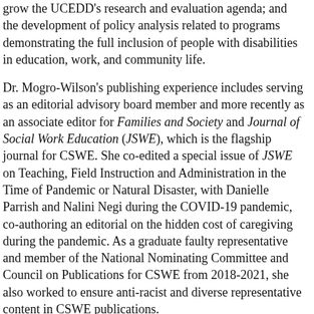grow the UCEDD's research and evaluation agenda; and the development of policy analysis related to programs demonstrating the full inclusion of people with disabilities in education, work, and community life.
Dr. Mogro-Wilson's publishing experience includes serving as an editorial advisory board member and more recently as an associate editor for Families and Society and Journal of Social Work Education (JSWE), which is the flagship journal for CSWE. She co-edited a special issue of JSWE on Teaching, Field Instruction and Administration in the Time of Pandemic or Natural Disaster, with Danielle Parrish and Nalini Negi during the COVID-19 pandemic, co-authoring an editorial on the hidden cost of caregiving during the pandemic. As a graduate faulty representative and member of the National Nominating Committee and Council on Publications for CSWE from 2018-2021, she also worked to ensure anti-racist and diverse representative content in CSWE publications.